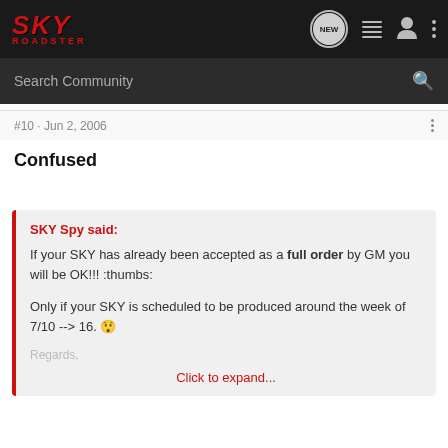[Figure (logo): SKY Roadster logo in red italic text on dark navigation bar, with nav icons (NEW bubble, list icon, user icon, dots menu)]
Search Community
#10 · Jun 2, 2006
Confused
SKY Spy said:
If your SKY has already been accepted as a full order by GM you will be OK!!! :thumbs:

Only if your SKY is scheduled to be produced around the week of 7/10 --> 16. 😱

Regards,
Click to expand...